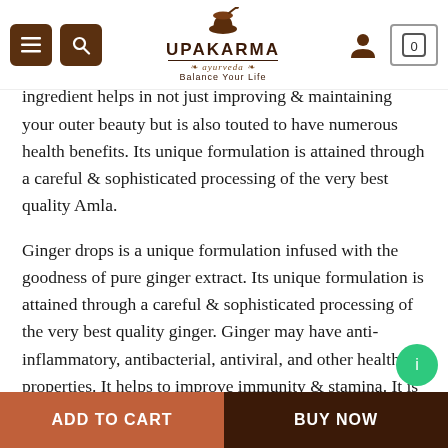Upakarma Ayurveda – Navigation bar with menu, search, logo, account, and cart icons
known to be rich in Vitamin C but other than this it also has Copper, Calcium, Tannins, Iron, Carotene, Gallic acid, and Ellagic acid. The goodness of this natural ingredient helps in not just improving & maintaining your outer beauty but is also touted to have numerous health benefits. Its unique formulation is attained through a careful & sophisticated processing of the very best quality Amla.
Ginger drops is a unique formulation infused with the goodness of pure ginger extract. Its unique formulation is attained through a careful & sophisticated processing of the very best quality ginger. Ginger may have anti-inflammatory, antibacterial, antiviral, and other healthful properties. It helps to improve immunity & stamina. It is having no side effects of prolonged usage, So continue using for a long
ADD TO CART | BUY NOW